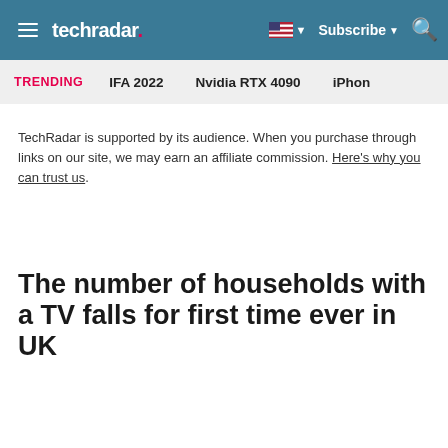techradar | Subscribe | Search
TRENDING   IFA 2022   Nvidia RTX 4090   iPhone
TechRadar is supported by its audience. When you purchase through links on our site, we may earn an affiliate commission. Here's why you can trust us.
The number of households with a TV falls for first time ever in UK